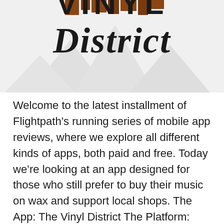[Figure (logo): The Vinyl District logo with stylized text 'VINYL District' in dark brown/black serif font over a light grey background with triangular cityscape silhouette shapes]
Welcome to the latest installment of Flightpath’s running series of mobile app reviews, where we explore all different kinds of apps, both paid and free. Today we’re looking at an app designed for those who still prefer to buy their music on wax and support local shops. The App: The Vinyl District The Platform: iPhone [...]
Welcome to the latest installment of